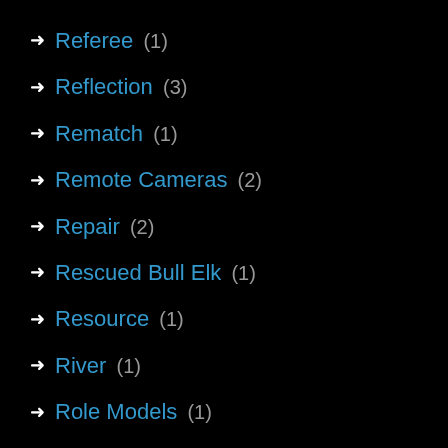Referee (1)
Reflection (3)
Rematch (1)
Remote Cameras (2)
Repair (2)
Rescued Bull Elk (1)
Resource (1)
River (1)
Role Models (1)
Running Back (1)
Ryan Krechel (1)
SanDisk (1)
Scary Moment (1)